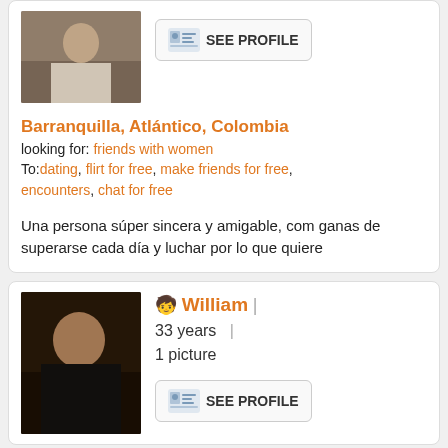[Figure (photo): Profile photo of a person in a crowd/indoor setting]
[Figure (other): SEE PROFILE button with ID card icon]
Barranquilla, Atlántico, Colombia
looking for: friends with women
To:dating, flirt for free, make friends for free, encounters, chat for free
Una persona súper sincera y amigable, com ganas de superarse cada día y luchar por lo que quiere
[Figure (photo): Profile photo of William, a man in black shirt sitting]
William  |  33 years  |  1 picture
[Figure (other): SEE PROFILE button with ID card icon]